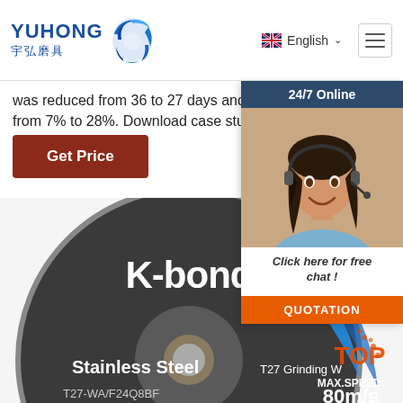YUHONG 宇弘磨具 | English | Menu
was reduced from 36 to 27 days and conversion rate increased from 7% to 28%. Download case study
Get Price
[Figure (photo): 24/7 Online chat widget showing a smiling woman with headset, with 'Click here for free chat!' text and an orange QUOTATION button]
[Figure (photo): K-bond grinding disc for Stainless Steel, T27 Grinding Wheel, T27-WA/F24Q8BF, MAX.SPEED: 80m/s, TOP label]